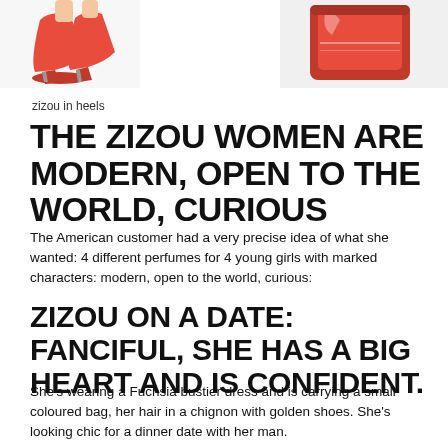[Figure (photo): Top portion of image showing red high-heel shoes on the left and a red glossy object (likely perfume bottle) on the right, on a white background.]
zizou in heels
THE ZIZOU WOMEN ARE MODERN, OPEN TO THE WORLD, CURIOUS
The American customer had a very precise idea of what she wanted: 4 different perfumes for 4 young girls with marked characters: modern, open to the world, curious:
ZIZOU ON A DATE: FANCIFUL, SHE HAS A BIG HEART AND IS CONFIDENT.
She’s wearing a Fuchsia bustier dress and is carrying a small coloured bag, her hair in a chignon with golden shoes. She’s looking chic for a dinner date with her man.